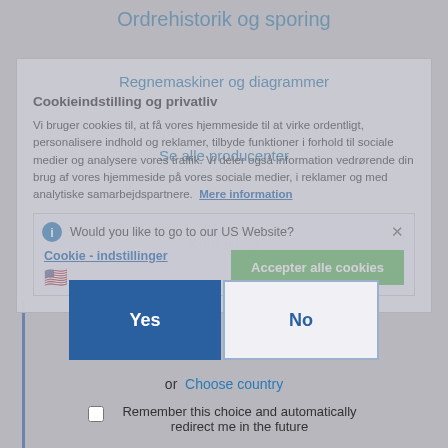Ordrehistorik og sporing
Regnemaskiner og diagrammer
Cookieindstilling og privatliv
Se alle producenter
Vi bruger cookies til, at få vores hjemmeside til at virke ordentligt, personalisere indhold og reklamer, tilbyde funktioner i forhold til sociale medier og analysere vores traffik. Vi deler også information vedrørende din brug af vores hjemmeside på vores sociale medier, i reklamer og med analytiske samarbejdspartnere. Mere information
Kontakt os
Would you like to go to our US Website?
Cookie - indstillinger
Accepter alle cookies
Yes
No
or  Choose country
Remember this choice and automatically redirect me in the future